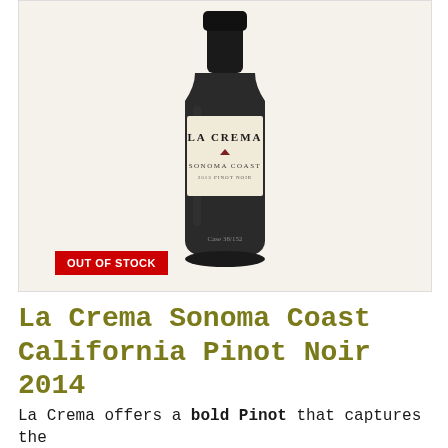[Figure (photo): Wine bottle of La Crema Sonoma Coast 2013 Pinot Noir with cream/beige label on dark bottle, displayed against a light beige background with a red 'OUT OF STOCK' badge in the lower left corner]
La Crema Sonoma Coast California Pinot Noir 2014
La Crema offers a bold Pinot that captures the big flavoured Californian/American style. It is